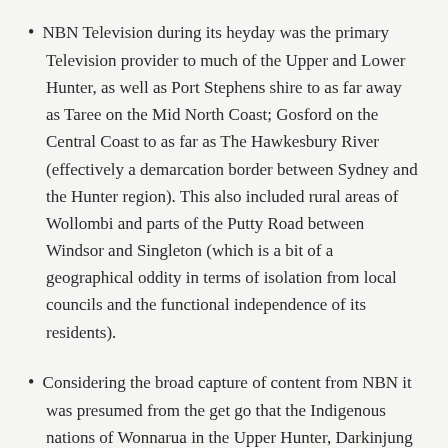NBN Television during its heyday was the primary Television provider to much of the Upper and Lower Hunter, as well as Port Stephens shire to as far away as Taree on the Mid North Coast; Gosford on the Central Coast to as far as The Hawkesbury River (effectively a demarcation border between Sydney and the Hunter region). This also included rural areas of Wollombi and parts of the Putty Road between Windsor and Singleton (which is a bit of a geographical oddity in terms of isolation from local councils and the functional independence of its residents).
Considering the broad capture of content from NBN it was presumed from the get go that the Indigenous nations of Wonnarua in the Upper Hunter, Darkinjung (there is no definitive pronunciation or spelling) of the Mountains beginning at the foot of Milbrodale and encompassing the areas around